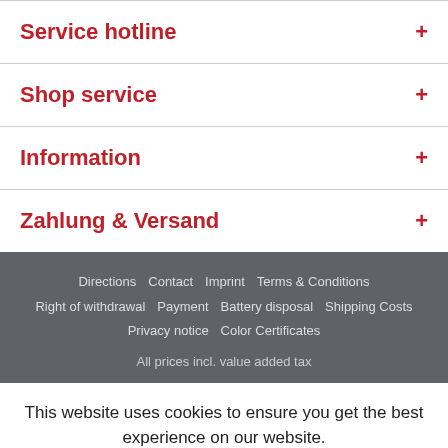Service hotline
Shop service
Information
Zahlung & Versand
Directions   Contact   Imprint   Terms & Conditions   Right of withdrawal   Payment   Battery disposal   Shipping Costs   Privacy notice   Color Certificates
All prices incl. value added tax
This website uses cookies to ensure you get the best experience on our website.
Accept